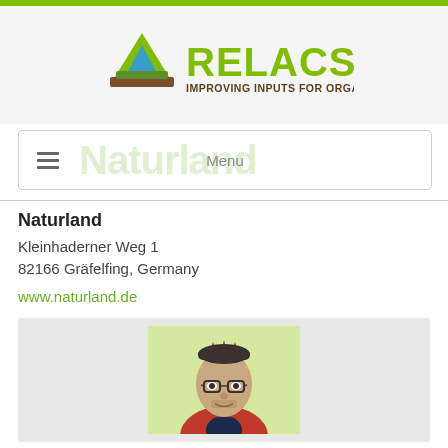[Figure (logo): RELACS logo with triangle icon and text 'RELACS - IMPROVING INPUTS FOR ORGANIC FARMING']
[Figure (screenshot): Navigation bar with hamburger menu icon, Naturland watermark text, and Menu label]
Naturland
Kleinhaderner Weg 1
82166 Gräfelfing, Germany
www.naturland.de
[Figure (photo): Portrait photo of a middle-aged man with glasses wearing a red and navy jacket, against a light yellow-green background]